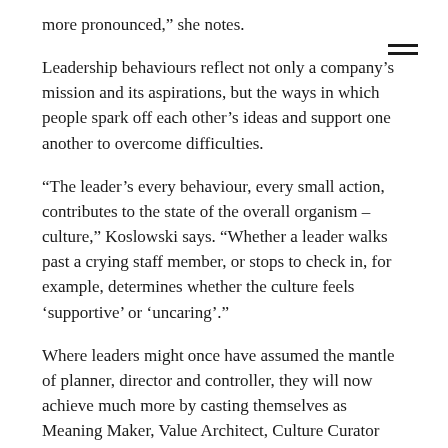more pronounced,” she notes.
Leadership behaviours reflect not only a company’s mission and its aspirations, but the ways in which people spark off each other’s ideas and support one another to overcome difficulties.
“The leader’s every behaviour, every small action, contributes to the state of the overall organism – culture,” Koslowski says. “Whether a leader walks past a crying staff member, or stops to check in, for example, determines whether the culture feels ‘supportive’ or ‘uncaring’.”
Where leaders might once have assumed the mantle of planner, director and controller, they will now achieve much more by casting themselves as Meaning Maker, Value Architect, Culture Curator and Performance Coach.